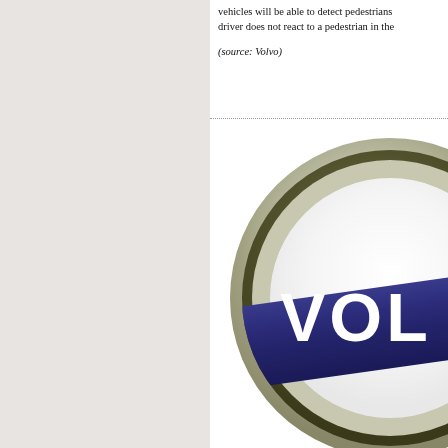vehicles will be able to detect pedestrians... driver does not react to a pedestrian in the...
(source: Volvo)
[Figure (logo): Volvo circular logo with dark blue diagonal band showing the letters 'VOL' in white, set against a silver/grey circular ring with dark olive/brown inner ring, partially cropped]